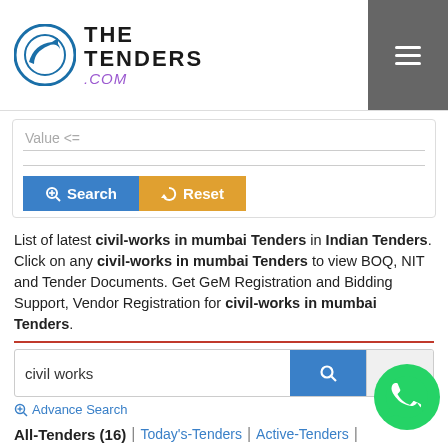[Figure (logo): The Tenders .COM logo with circular arrow icon]
Value <=
[Figure (screenshot): Search and Reset buttons row]
List of latest civil-works in mumbai Tenders in Indian Tenders. Click on any civil-works in mumbai Tenders to view BOQ, NIT and Tender Documents. Get GeM Registration and Bidding Support, Vendor Registration for civil-works in mumbai Tenders.
[Figure (screenshot): Search input bar with civil works text, search icon button, and refresh button]
Advance Search
All-Tenders (16) | Today's-Tenders | Active-Tenders |